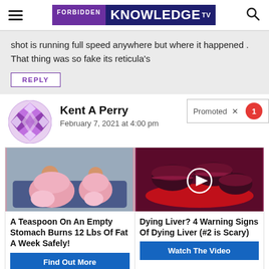FORBIDDEN KNOWLEDGE TV
shot is running full speed anywhere but where it happened . That thing was so fake its reticula's
REPLY
Kent A Perry
February 7, 2021 at 4:00 pm
[Figure (photo): Two women in pink pajamas sitting on a couch]
A Teaspoon On An Empty Stomach Burns 12 Lbs Of Fat A Week Safely!
Find Out More
[Figure (photo): Dark red/maroon macarons on a red plate with video play button overlay]
Dying Liver? 4 Warning Signs Of Dying Liver (#2 is Scary)
Watch The Video